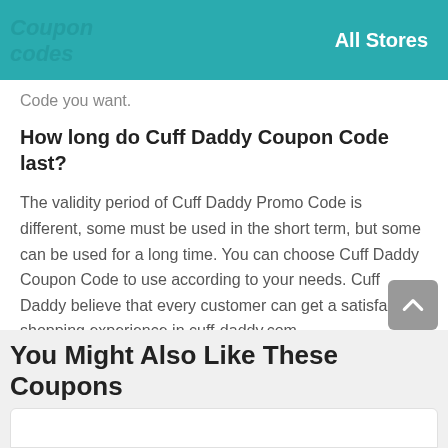All Stores
Code you want.
How long do Cuff Daddy Coupon Code last?
The validity period of Cuff Daddy Promo Code is different, some must be used in the short term, but some can be used for a long time. You can choose Cuff Daddy Coupon Code to use according to your needs. Cuff Daddy believe that every customer can get a satisfactory shopping experience in cuff-daddy.com.
You Might Also Like These Coupons